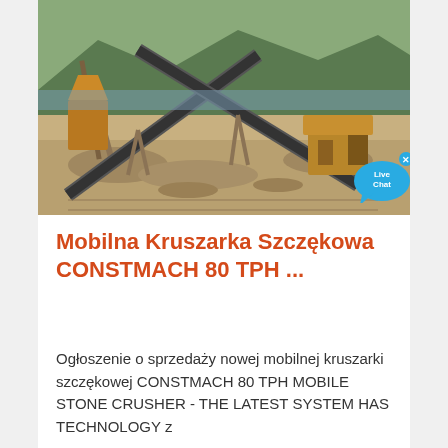[Figure (photo): Aerial view of a mobile stone crushing plant with conveyor belts and heavy machinery at a quarry or mining site. Mountains visible in the background.]
Mobilna Kruszarka Szczękowa CONSTMACH 80 TPH ...
Ogłoszenie o sprzedaży nowej mobilnej kruszarki szczękowej CONSTMACH 80 TPH MOBILE STONE CRUSHER - THE LATEST SYSTEM HAS TECHNOLOGY z